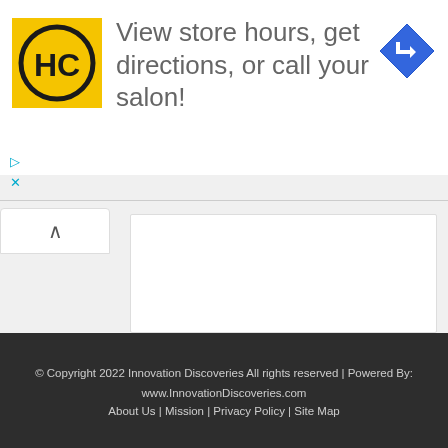[Figure (logo): HC logo — yellow square with black circle containing HC letters]
View store hours, get directions, or call your salon!
[Figure (illustration): Blue diamond-shaped navigation/directions icon with white right-turn arrow]
▷
×
^
© Copyright 2022 Innovation Discoveries All rights reserved | Powered By: www.InnovationDiscoveries.com
About Us | Mission | Privacy Policy | Site Map